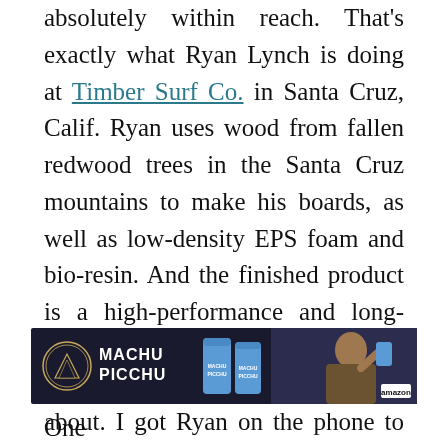absolutely within reach. That's exactly what Ryan Lynch is doing at Timber Surf Co. in Santa Cruz, Calif. Ryan uses wood from fallen redwood trees in the Santa Cruz mountains to make his boards, as well as low-density EPS foam and bio-resin. And the finished product is a high-performance and long-lasting surfboard that both Ryan and the customer can feel good about. I got Ryan on the phone to hear more about his operation down in Santa Cruz, and the state of eco-surfboards more generally. Read on.
[Figure (photo): Advertisement banner for Machu Picchu brand, dark background with logo, cans, and person drinking]
One